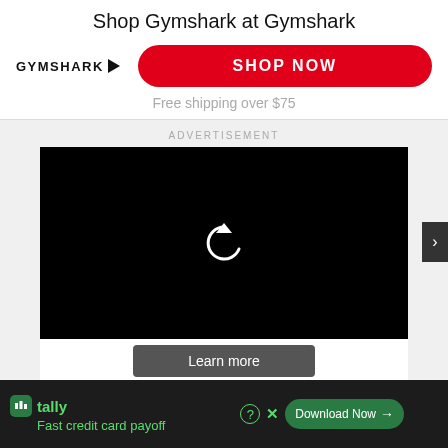Shop Gymshark at Gymshark
[Figure (logo): Gymshark logo with arrow icon and red SHOP NOW button]
Free shipping over $75
ADVERTISEMENT
[Figure (screenshot): Black video player with white replay/refresh circular arrow icon in center]
Learn more
[Figure (infographic): Tally app advertisement banner: green tally icon, tally name, Fast credit card payoff tagline, Download Now button]